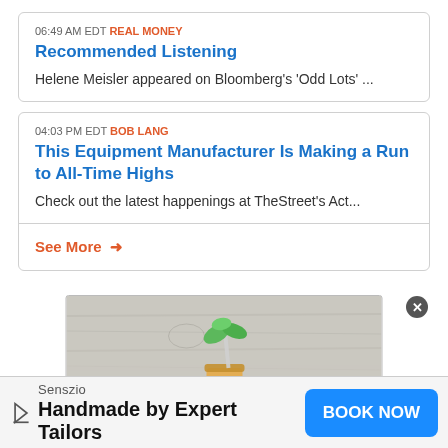06:49 AM EDT REAL MONEY
Recommended Listening
Helene Meisler appeared on Bloomberg's 'Odd Lots' ...
04:03 PM EDT BOB LANG
This Equipment Manufacturer Is Making a Run to All-Time Highs
Check out the latest happenings at TheStreet's Act...
See More →
[Figure (photo): Advertisement image showing a small plant growing from a jar on a wooden surface]
Senszio
Handmade by Expert Tailors
BOOK NOW